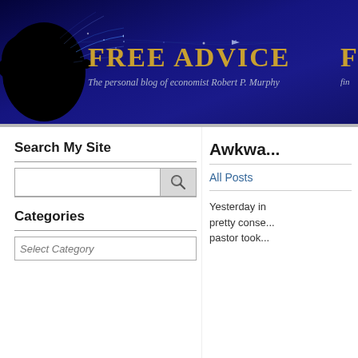FREE ADVICE — The personal blog of economist Robert P. Murphy
[Figure (illustration): Mandelbrot fractal set image in black with blue lightning/fractal tendrils, used as decorative left portion of the site header banner]
Search My Site
Categories
Awkwa...
All Posts
Yesterday in... pretty conse... pastor took...